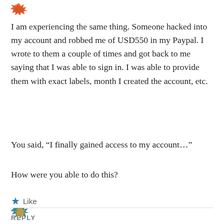[Figure (illustration): Partial orange/red spiky avatar icon at top left]
I am experiencing the same thing. Someone hacked into my account and robbed me of USD550 in my Paypal. I wrote to them a couple of times and got back to me saying that I was able to sign in. I was able to provide them with exact labels, month I created the account, etc.
You said, “I finally gained access to my account…”
How were you able to do this?
★ Like
REPLY
[Figure (illustration): Partial colorful spiky avatar icon at bottom left]